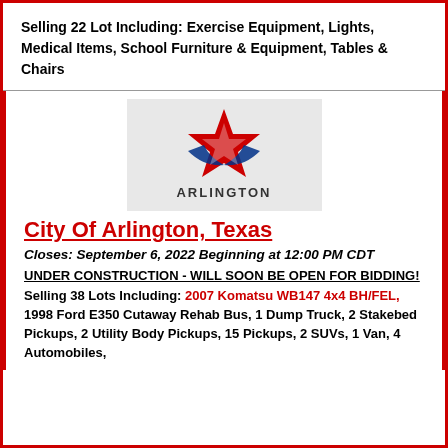Selling 22 Lot Including: Exercise Equipment, Lights, Medical Items, School Furniture & Equipment, Tables & Chairs
[Figure (logo): City of Arlington Texas logo with a star and swoosh graphic and the word ARLINGTON underneath]
City Of Arlington, Texas
Closes: September 6, 2022 Beginning at 12:00 PM CDT
UNDER CONSTRUCTION - WILL SOON BE OPEN FOR BIDDING!
Selling 38 Lots Including: 2007 Komatsu WB147 4x4 BH/FEL, 1998 Ford E350 Cutaway Rehab Bus, 1 Dump Truck, 2 Stakebed Pickups, 2 Utility Body Pickups, 15 Pickups, 2 SUVs, 1 Van, 4 Automobiles,